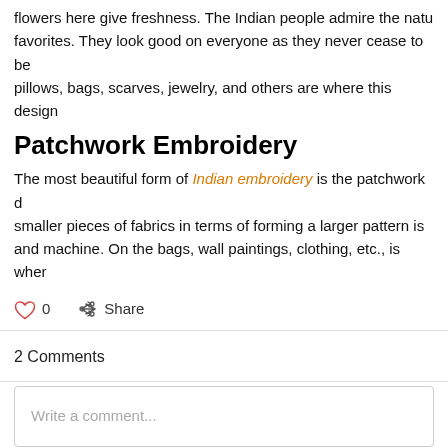flowers here give freshness. The Indian people admire the natu favorites. They look good on everyone as they never cease to be pillows, bags, scarves, jewelry, and others are where this design
Patchwork Embroidery
The most beautiful form of Indian embroidery is the patchwork d smaller pieces of fabrics in terms of forming a larger pattern is and machine. On the bags, wall paintings, clothing, etc., is wher
0   Share
2 Comments
Write a comment...
Antonik Phonik
Jan 16
This topic is quite interesting. I learned a lot here, besides I am